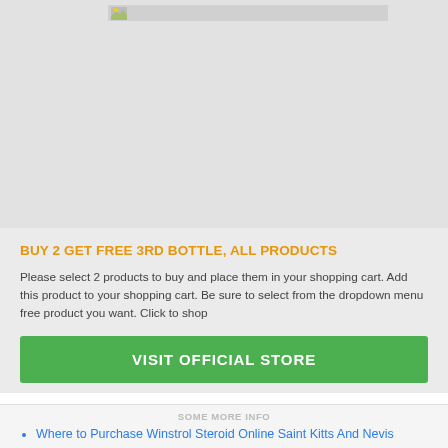[Figure (photo): Broken/loading product image placeholder in gray area at top of page]
BUY 2 GET FREE 3RD BOTTLE, ALL PRODUCTS
Please select 2 products to buy and place them in your shopping cart. Add this product to your shopping cart. Be sure to select from the dropdown menu free product you want. Click to shop
VISIT OFFICIAL STORE
Where to Purchase Winstrol Steroid Online Saint Kitts And Nevis